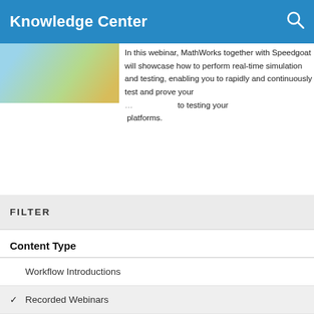Knowledge Center
In this webinar, MathWorks together with Speedgoat will showcase how to perform real-time simulation and testing, enabling you to rapidly and continuously test and prove your … to testing your … platforms.
FILTER
Content Type
Workflow Introductions   4
✔ Recorded Webinars   15
How To   0
Industry Use Cases   14
Success Stories   6
Reference Applications   2
Whitepapers   3